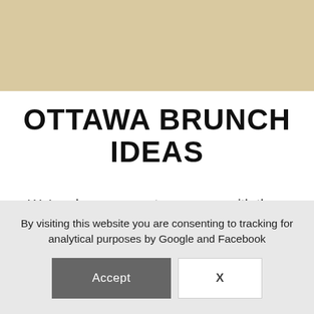[Figure (photo): Tan/beige header banner area at the top of the page with a partially visible object at the right side]
OTTAWA BRUNCH IDEAS
We're always eager to come up with the next best idea in oatmeal. Follow us on Instagram and Facebook, and suggest your own brunch ideas if you have one.
By visiting this website you are consenting to tracking for analytical purposes by Google and Facebook